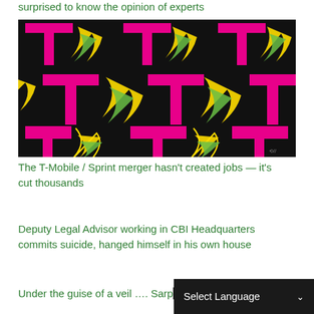surprised to know the opinion of experts
[Figure (photo): T-Mobile and Sprint logos repeated in a pattern on black background — pink T-Mobile T logos and yellow/green Sprint swoosh logos arranged in a grid]
The T-Mobile / Sprint merger hasn't created jobs — it's cut thousands
Deputy Legal Advisor working in CBI Headquarters commits suicide, hanged himself in his own house
Under the guise of a veil …. Sarpanch did such a big